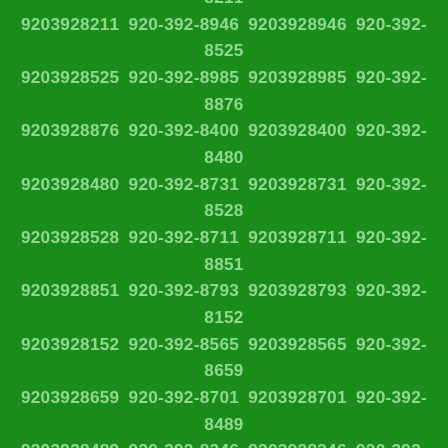9203928942 920-392-8332 9203928332 920-392-8650 9203928650 920-392-8918 9203928918 920-392-8908 9203928908 920-392-8750 9203928750 920-392-8193 9203928193 920-392-8228 9203928228 920-392-8768 9203928768 920-392-8806 9203928806 920-392-8172 9203928172 920-392-8716 9203928716 920-392-8695 9203928695 920-392-8153 9203928153 920-392-8268 9203928268 920-392-8960 9203928960 920-392-8419 9203928419 920-392-8295 9203928295 920-392-8211 9203928211 920-392-8946 9203928946 920-392-8525 9203928525 920-392-8985 9203928985 920-392-8876 9203928876 920-392-8400 9203928400 920-392-8480 9203928480 920-392-8731 9203928731 920-392-8528 9203928528 920-392-8711 9203928711 920-392-8851 9203928851 920-392-8793 9203928793 920-392-8152 9203928152 920-392-8565 9203928565 920-392-8659 9203928659 920-392-8701 9203928701 920-392-8489 9203928489 920-392-8346 9203928346 920-392-8969 9203928969 920-392-8609 9203928609 920-392-8585 9203928585 920-392-8515 9203928515 920-392-8428 9203928428 920-392-8911 9203928911 920-392-8420 9203928420 920-392-8982 9203928982 920-392-8629 9203928629 920-392-8329 9203928329 920-392-8283 9203928283 920-392-8838 9203928838 920-392-8085 9203928085 920-392-8518 9203928518 920-392-8481 9203928481 920-392-8611 9203928611 920-392-8314